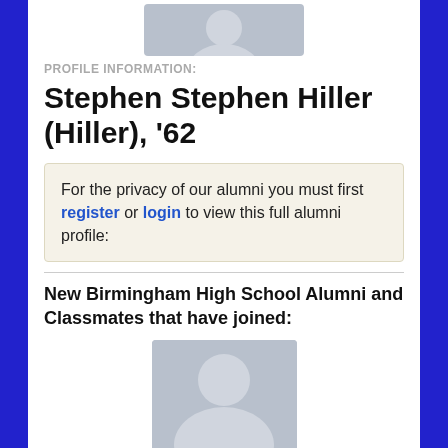[Figure (photo): Default avatar placeholder image at the top of the profile page]
PROFILE INFORMATION:
Stephen Stephen Hiller (Hiller), '62
For the privacy of our alumni you must first register or login to view this full alumni profile:
New Birmingham High School Alumni and Classmates that have joined:
[Figure (photo): Default avatar placeholder image for Cassandra Langston]
Cassandra Langston